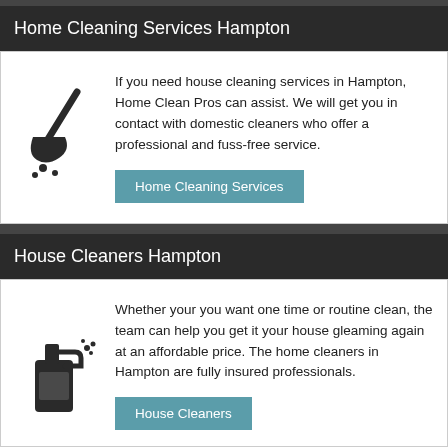Home Cleaning Services Hampton
If you need house cleaning services in Hampton, Home Clean Pros can assist. We will get you in contact with domestic cleaners who offer a professional and fuss-free service.
Home Cleaning Services
House Cleaners Hampton
Whether your you want one time or routine clean, the team can help you get it your house gleaming again at an affordable price. The home cleaners in Hampton are fully insured professionals.
House Cleaners